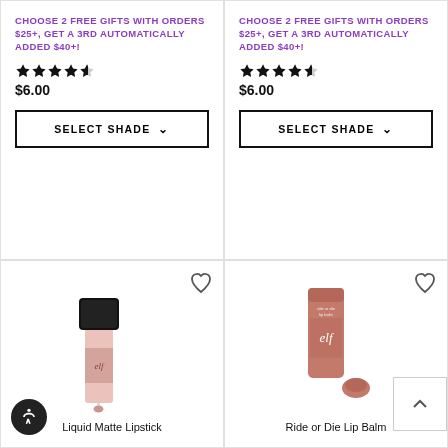CHOOSE 2 FREE GIFTS WITH ORDERS $25+, GET A 3RD AUTOMATICALLY ADDED $40+!
★★★★☆ $6.00
SELECT SHADE
CHOOSE 2 FREE GIFTS WITH ORDERS $25+, GET A 3RD AUTOMATICALLY ADDED $40+!
★★★★☆ $6.00
SELECT SHADE
[Figure (photo): e.l.f. Liquid Matte Lipstick product photo - a clear tube with black cap and applicator wand showing a mauve/nude pink lip gloss]
Liquid Matte Lipstick
[Figure (photo): e.l.f. Ride or Die Lip Balm product photo - a pink/terracotta tube and a small chunk of balm on white background]
Ride or Die Lip Balm